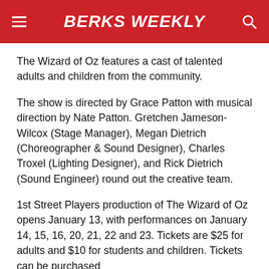BERKS WEEKLY
The Wizard of Oz features a cast of talented adults and children from the community.
The show is directed by Grace Patton with musical direction by Nate Patton. Gretchen Jameson-Wilcox (Stage Manager), Megan Dietrich (Choreographer & Sound Designer), Charles Troxel (Lighting Designer), and Rick Dietrich (Sound Engineer) round out the creative team.
1st Street Players production of The Wizard of Oz opens January 13, with performances on January 14, 15, 16, 20, 21, 22 and 23. Tickets are $25 for adults and $10 for students and children. Tickets can be purchased